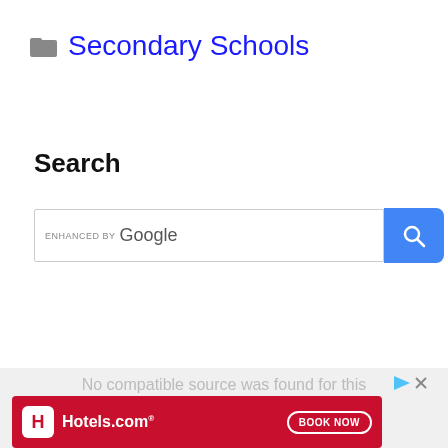Secondary Schools
Search
[Figure (screenshot): Google custom search box with 'ENHANCED BY Google' label and a blue search button with magnifying glass icon]
[Figure (infographic): Hotels.com advertisement banner with red background, Hotels.com logo, and BOOK NOW button]